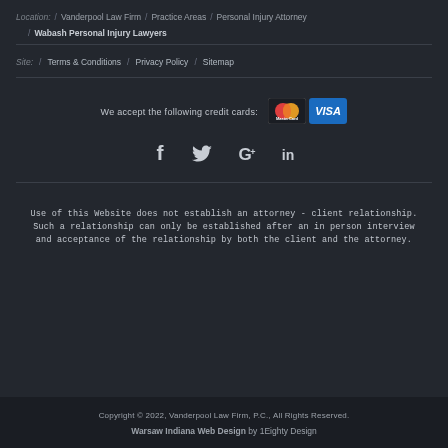Location: / Vanderpool Law Firm / Practice Areas / Personal Injury Attorney / Wabash Personal Injury Lawyers
Site: / Terms & Conditions / Privacy Policy / Sitemap
We accept the following credit cards:
[Figure (logo): MasterCard and Visa credit card logos]
[Figure (logo): Social media icons: Facebook, Twitter, Google, LinkedIn]
Use of this Website does not establish an attorney - client relationship. Such a relationship can only be established after an in person interview and acceptance of the relationship by both the client and the attorney.
Copyright © 2022, Vanderpool Law Firm, P.C., All Rights Reserved.
Warsaw Indiana Web Design by 1Eighty Design